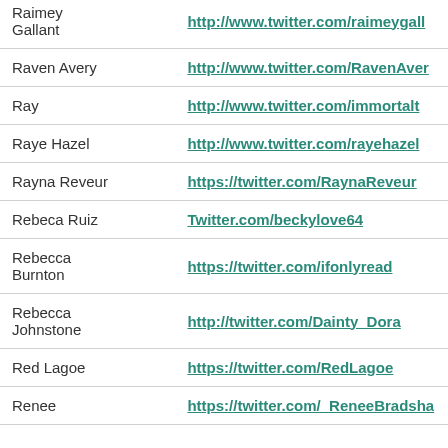| Name | Twitter URL |
| --- | --- |
| Raimey Gallant | http://www.twitter.com/raimeygall |
| Raven Avery | http://www.twitter.com/RavenAver |
| Ray | http://www.twitter.com/immortalt |
| Raye Hazel | http://www.twitter.com/rayehazel |
| Rayna Reveur | https://twitter.com/RaynaReveur |
| Rebeca Ruiz | Twitter.com/beckylove64 |
| Rebecca Burnton | https://twitter.com/ifonlyread |
| Rebecca Johnstone | http://twitter.com/Dainty_Dora |
| Red Lagoe | https://twitter.com/RedLagoe |
| Renee | https://twitter.com/_ReneeBradsha |